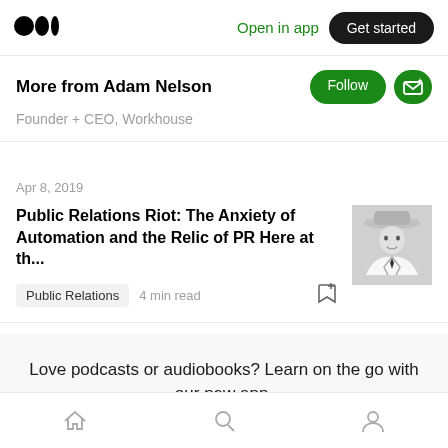Medium logo | Open in app | Get started
More from Adam Nelson
Founder + CEO, Workhouse
Apr 8, 2019
Public Relations Riot: The Anxiety of Automation and the Relic of PR Here at th...
[Figure (photo): Black and white portrait photo of a man in a white suit and wide-brim hat]
Public Relations   4 min read
Love podcasts or audiobooks? Learn on the go with our new app.
Try Knowable
Home | Search | Profile